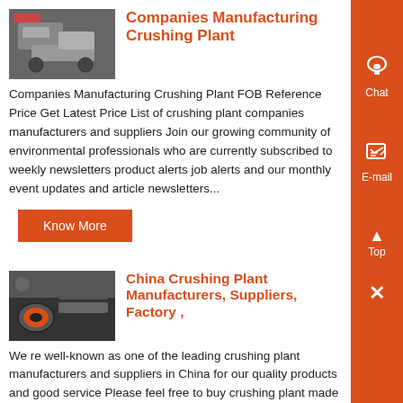[Figure (photo): Image of crushing plant machinery]
Companies Manufacturing Crushing Plant
Companies Manufacturing Crushing Plant FOB Reference Price Get Latest Price List of crushing plant companies manufacturers and suppliers Join our growing community of environmental professionals who are currently subscribed to weekly newsletters product alerts job alerts and our monthly event updates and article newsletters...
[Figure (photo): Image of crushing plant equipment]
China Crushing Plant Manufacturers, Suppliers, Factory ,
We re well-known as one of the leading crushing plant manufacturers and suppliers in China for our quality products and good service Please feel free to buy crushing plant made in China here from our factoryWe provide good power in high-quality and progress, merchandising, revenue and internet marketing and operation for mobile crushing and screening equipment, jaw ,...